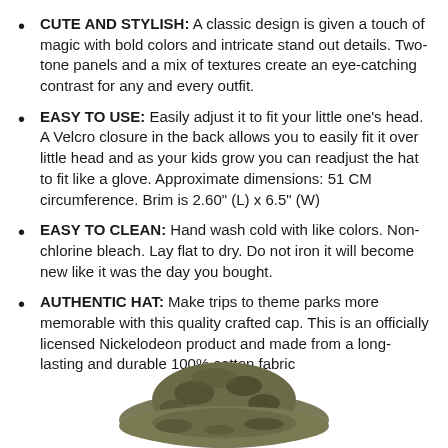CUTE AND STYLISH: A classic design is given a touch of magic with bold colors and intricate stand out details. Two-tone panels and a mix of textures create an eye-catching contrast for any and every outfit.
EASY TO USE: Easily adjust it to fit your little one's head. A Velcro closure in the back allows you to easily fit it over little head and as your kids grow you can readjust the hat to fit like a glove. Approximate dimensions: 51 CM circumference. Brim is 2.60" (L) x 6.5" (W)
EASY TO CLEAN: Hand wash cold with like colors. Non-chlorine bleach. Lay flat to dry. Do not iron it will become new like it was the day you bought.
AUTHENTIC HAT: Make trips to theme parks more memorable with this quality crafted cap. This is an officially licensed Nickelodeon product and made from a long-lasting and durable 100% cotton fabric
[Figure (photo): Bottom portion of a camouflage patterned bucket/sun hat visible at the bottom center of the page]